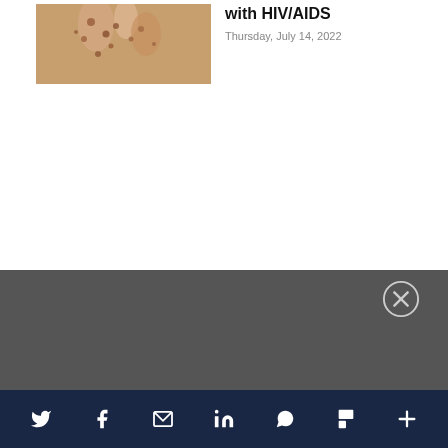[Figure (photo): Photo of a person's torso with monkeypox spots/rash on skin]
with HIV/AIDS
Thursday, July 14, 2022
[Figure (screenshot): Gray overlay/modal area with a close (X) button in a circle]
[Figure (logo): LGBTQ Nation logo with decorative lines]
Social share bar with Twitter, Facebook, Email, LinkedIn, WhatsApp, Flipboard, and More icons